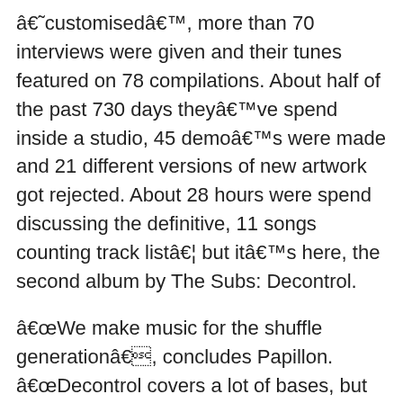â€˜customisedâ€™, more than 70 interviews were given and their tunes featured on 78 compilations. About half of the past 730 days theyâ€™ve spend inside a studio, 45 demoâ€™s were made and 21 different versions of new artwork got rejected. About 28 hours were spend discussing the definitive, 11 songs counting track listâ€¦ but itâ€™s here, the second album by The Subs: Decontrol.
â€œWe make music for the shuffle generationâ€, concludes Papillon. â€œDecontrol covers a lot of bases, but at the same time it definitely serves as a whole. Weâ€™ve become more positive thinking the past few years, I can't wait to infect our audience with that sensation.â€
The Subs are Jeroen De Pessemier aka Papillon, Wiebe Loccufier aka DJ Tonic and Luca Di Ferdinando aka